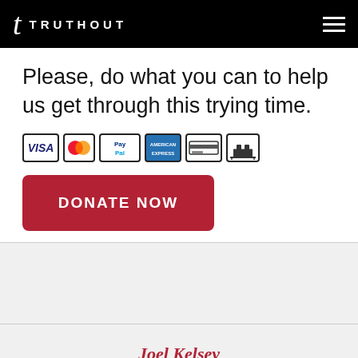TRUTHOUT
Please, do what you can to help us get through this trying time.
[Figure (other): Payment method icons: VISA, Mastercard, PayPal, American Express, credit card, bank transfer]
DONATE NOW
Joel Kelsey